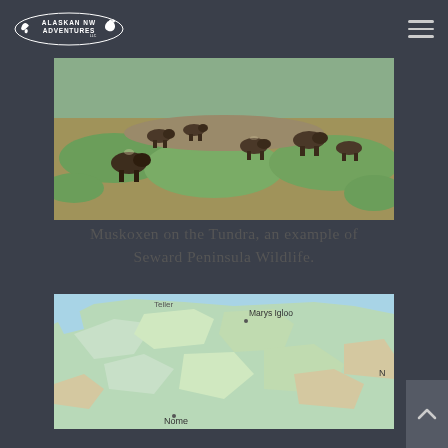Alaskan NW Adventures LLC
[Figure (photo): Muskoxen grazing on the tundra, Seward Peninsula, Alaska. Multiple muskoxen visible on grassy/rocky terrain with green vegetation.]
Muskoxen on the Tundra, an example of Seward Peninsula Wildlife.
[Figure (map): Google Maps view of the Seward Peninsula, Alaska, showing Marys Igloo, Nome, and surrounding coastal terrain in green and beige tones.]